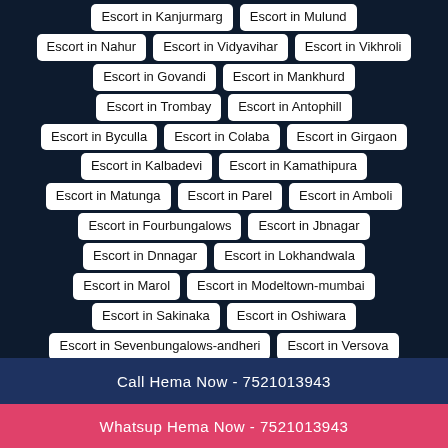Escort in Kanjurmarg
Escort in Mulund
Escort in Nahur
Escort in Vidyavihar
Escort in Vikhroli
Escort in Govandi
Escort in Mankhurd
Escort in Trombay
Escort in Antophill
Escort in Byculla
Escort in Colaba
Escort in Girgaon
Escort in Kalbadevi
Escort in Kamathipura
Escort in Matunga
Escort in Parel
Escort in Amboli
Escort in Fourbungalows
Escort in Jbnagar
Escort in Dnnagar
Escort in Lokhandwala
Escort in Marol
Escort in Modeltown-mumbai
Escort in Sakinaka
Escort in Oshiwara
Escort in Sevenbungalows-andheri
Escort in Versova
Escort in Miraroad
Escort in Bharatnagar-mumbai
Call Hema Now - 7521013943
Whatsup Hema Now - 7521013943